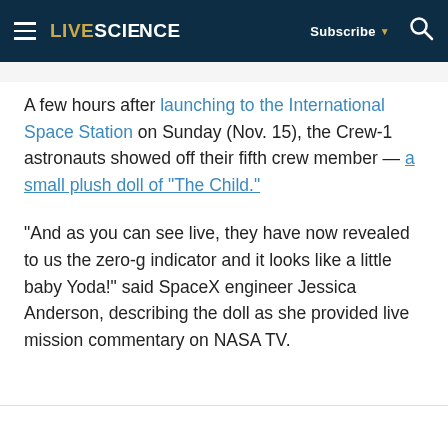LIVESCIENCE | Subscribe | [search icon]
A few hours after launching to the International Space Station on Sunday (Nov. 15), the Crew-1 astronauts showed off their fifth crew member — a small plush doll of "The Child."
"And as you can see live, they have now revealed to us the zero-g indicator and it looks like a little baby Yoda!" said SpaceX engineer Jessica Anderson, describing the doll as she provided live mission commentary on NASA TV.